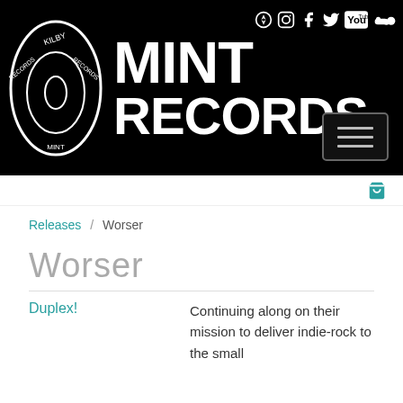[Figure (logo): Mint Records banner with circular logo on left showing a record/donut illustration, large white bold text 'MINT RECORDS' in center, social media icons (compass, Instagram, Facebook, Twitter, YouTube, SoundCloud) top right, hamburger menu button bottom right, all on black background]
Shopping cart icon
Releases / Worser
Worser
Duplex!
Continuing along on their mission to deliver indie-rock to the small